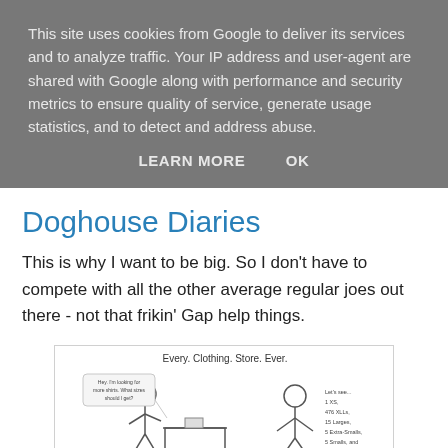This site uses cookies from Google to deliver its services and to analyze traffic. Your IP address and user-agent are shared with Google along with performance and security metrics to ensure quality of service, generate usage statistics, and to detect and address abuse.
LEARN MORE    OK
Doghouse Diaries
This is why I want to be big. So I don't have to compete with all the other average regular joes out there - not that frikin' Gap help things.
[Figure (illustration): Comic strip titled 'Every. Clothing. Store. Ever.' showing two stick figures, one at a counter asking for shirt size advice, and the other listing sizes: 1 XS, 476 XLLs, 15 Larges, 5 Extra-Smalls, 5 Smalls, and 2 Mediums.]